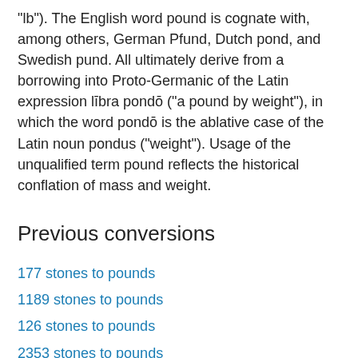"lb"). The English word pound is cognate with, among others, German Pfund, Dutch pond, and Swedish pund. All ultimately derive from a borrowing into Proto-Germanic of the Latin expression lībra pondō ("a pound by weight"), in which the word pondō is the ablative case of the Latin noun pondus ("weight"). Usage of the unqualified term pound reflects the historical conflation of mass and weight.
Previous conversions
177 stones to pounds
1189 stones to pounds
126 stones to pounds
2353 stones to pounds
1533 stones to pounds